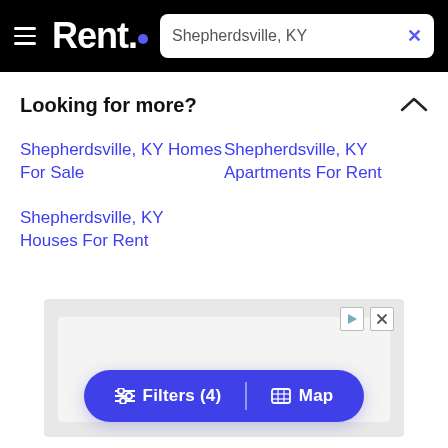Rent. — Shepherdsville, KY
Looking for more?
Shepherdsville, KY Homes For Sale
Shepherdsville, KY Apartments For Rent
Shepherdsville, KY Houses For Rent
[Figure (screenshot): Advertisement placeholder showing 'Request A Quote' text partially visible]
[Figure (infographic): Bottom pill navigation bar with Filters (4) and Map buttons]